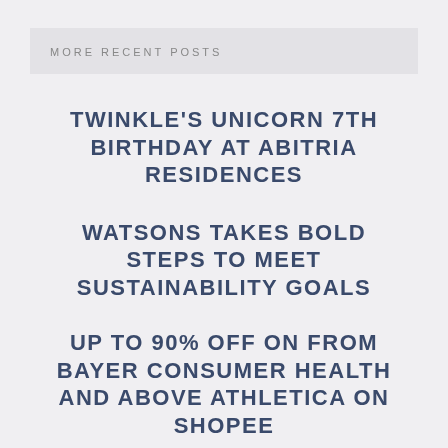MORE RECENT POSTS
TWINKLE'S UNICORN 7TH BIRTHDAY AT ABITRIA RESIDENCES
WATSONS TAKES BOLD STEPS TO MEET SUSTAINABILITY GOALS
UP TO 90% OFF ON FROM BAYER CONSUMER HEALTH AND ABOVE ATHLETICA ON SHOPEE